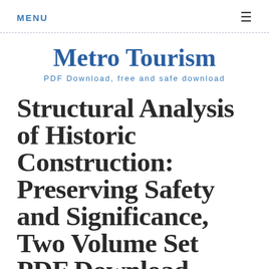MENU ≡
Metro Tourism
PDF Download, free and safe download
Structural Analysis of Historic Construction: Preserving Safety and Significance, Two Volume Set PDF Download
Are you looking for read ebook online? Search for your book and save it on your Kindle device, PC, phones or tablets.
Download Structural Analysis of Historic